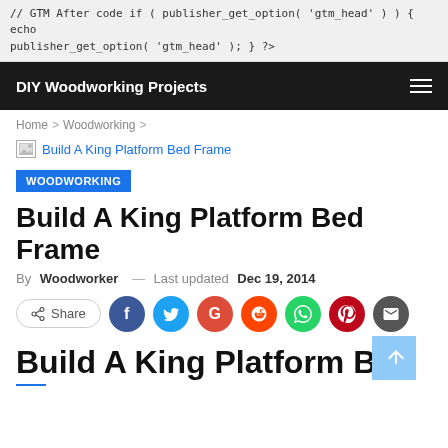// GTM After code if ( publisher_get_option( 'gtm_head' ) ) { echo publisher_get_option( 'gtm_head' ); } ?>
DIY Woodworking Projects
Home > Woodworking >
[Figure (screenshot): Broken image icon with caption: Build A King Platform Bed Frame]
WOODWORKING
Build A King Platform Bed Frame
By Woodworker — Last updated Dec 19, 2014
[Figure (infographic): Share button and social media icons: Facebook, Twitter, Google+, Reddit, WhatsApp, Pinterest, Email]
Build A King Platform Bed